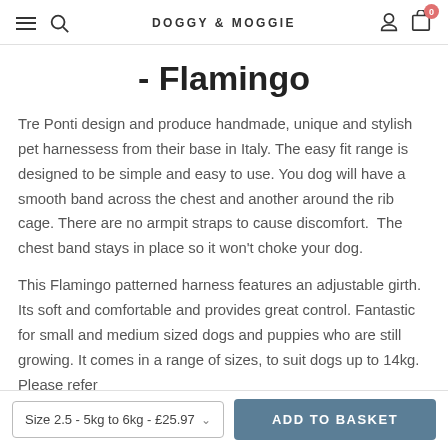DOGGY & MOGGIE
- Flamingo
Tre Ponti design and produce handmade, unique and stylish pet harnessess from their base in Italy. The easy fit range is designed to be simple and easy to use. You dog will have a smooth band across the chest and another around the rib cage. There are no armpit straps to cause discomfort.  The chest band stays in place so it won't choke your dog.
This Flamingo patterned harness features an adjustable girth. Its soft and comfortable and provides great control. Fantastic for small and medium sized dogs and puppies who are still growing. It comes in a range of sizes, to suit dogs up to 14kg. Please refer
Size 2.5 - 5kg to 6kg - £25.97
ADD TO BASKET